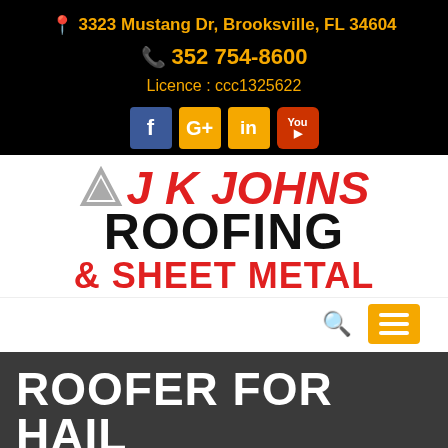📍 3323 Mustang Dr, Brooksville, FL 34604
📞 352 754-8600
Licence : ccc1325622
[Figure (other): Social media icons: Facebook (blue), Google+ (orange), LinkedIn (orange), YouTube (red)]
[Figure (logo): JK Johns Roofing & Sheet Metal logo with grey triangle symbol, red italic JK JOHNS text, black bold ROOFING text, red bold & SHEET METAL text]
[Figure (other): Search icon (magnifying glass) and orange menu hamburger button]
ROOFER FOR HAIL
[Figure (other): CALL NOW button with phone icon on green background]